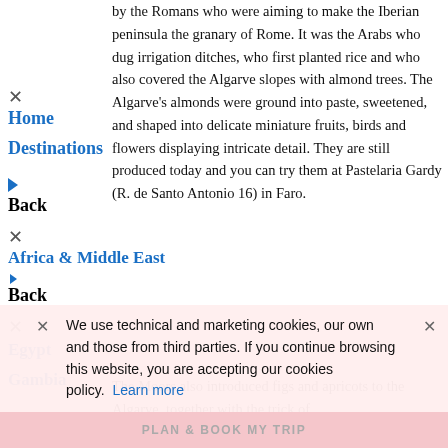by the Romans who were aiming to make the Iberian peninsula the granary of Rome. It was the Arabs who dug irrigation ditches, who first planted rice and who also covered the Algarve slopes with almond trees. The Algarve's almonds were ground into paste, sweetened, and shaped into delicate miniature fruits, birds and flowers displaying intricate detail. They are still produced today and you can try them at Pastelaria Gardy (R. de Santo Antonio 16) in Faro.
Home
Destinations
Back
Africa & Middle East
Back
Egypt
Gambia
Jordan
Kenya
The Moors also introduced figs and apricots to the Algarve, together with the trick of
We use technical and marketing cookies, our own and those from third parties. If you continue browsing this website, you are accepting our cookies policy. Learn more